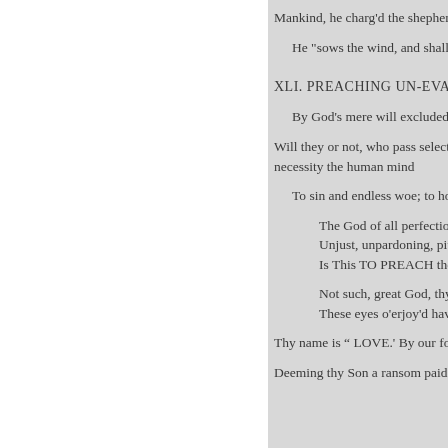Mankind, he charg'd the shepherd
He "sows the wind, and shall t
XLI. PREACHING UN-EVAN
By God's mere will excluded,
Will they or not, who pass select
necessity the human mind
To sin and endless woe; to hol
The God of all perfection,
Unjust, unpardoning, pitiles
Is This TO PREACH the Go
Not such, great God, thy lo
These eyes o'erjoy'd have se
Thy name is “ LOVE.' By our fo
Deeming thy Son a ransom paid